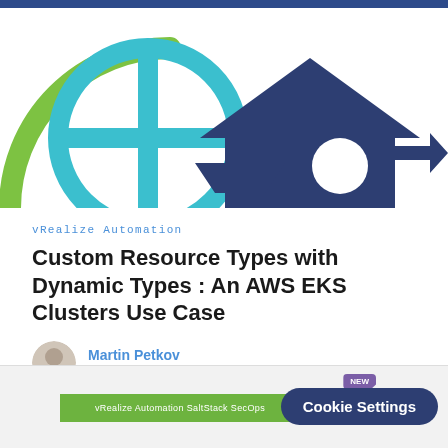[Figure (illustration): Decorative hero image with vRealize Automation logo elements: a green and teal circular globe/network symbol on the left, and a dark navy blue house/home icon with an arrow on the right, on white background.]
vRealize Automation
Custom Resource Types with Dynamic Types : An AWS EKS Clusters Use Case
Martin Petkov
February 11, 2022
[Figure (screenshot): Bottom strip showing a green bar labeled 'vRealize Automation SaltStack SecOps', a dark navy 'Cookie Settings' button, and a purple 'NEW' badge.]